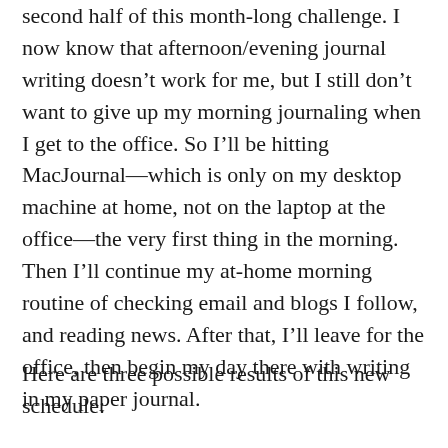second half of this month-long challenge. I now know that afternoon/evening journal writing doesn't work for me, but I still don't want to give up my morning journaling when I get to the office. So I'll be hitting MacJournal—which is only on my desktop machine at home, not on the laptop at the office—the very first thing in the morning. Then I'll continue my at-home morning routine of checking email and blogs I follow, and reading news. After that, I'll leave for the office, then begin my day there with writing in my paper journal.
Here are three possible results of this new schedule: